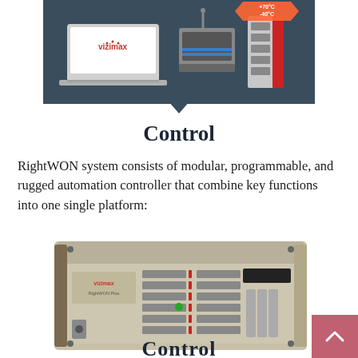[Figure (photo): Vizimax product photo showing a laptop with Vizimax logo, industrial hardware units including a wireless device and a modular controller, on a dark blue-grey background with a red temperature badge (+70°C, -40°C)]
Control
RightWON system consists of modular, programmable, and rugged automation controller that combine key functions into one single platform:
[Figure (photo): Vizimax RightWON Plus automation controller unit — a rack-mount beige/grey device with multiple buttons, red LED indicators, a green LED, a display panel, and a key switch on the front panel]
Control